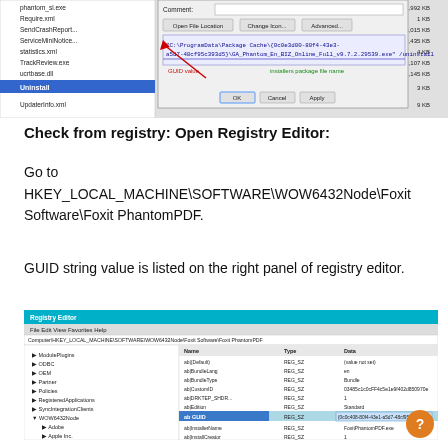[Figure (screenshot): Windows file explorer panel showing files including phantom_sl.exe, Require.xml, SendCrashReport, ServiceMiniNotice, statistics.xml, TrackReview.exe, ucrtbase.dll, Uninstall (highlighted), UpdaterInfo.xml with file sizes in KB. A dialog box shows Comment field, Open File Location, Change Icon, Advanced buttons, and a path text: 'C:\ProgramData\Package Cache\{0c0e3d00-80f4-43e3-a5d7-48cf95c393d5}\GA_Phantom_En_BIZ_Online_Full_v9.7.2.29539.exe' /uninstall. Red arrows and labels indicate 'GUID value' and 'installers package file name'.]
Check from registry: Open Registry Editor:
Go to HKEY_LOCAL_MACHINE\SOFTWARE\WOW6432Node\Foxit Software\Foxit PhantomPDF.
GUID string value is listed on the right panel of registry editor.
[Figure (screenshot): Registry Editor window showing Computer\HKEY_LOCAL_MACHINE\SOFTWARE\WOW6432Node\Foxit Software\Foxit PhantomPDF path. Left tree panel shows WOW6432Node expanded. Right panel shows registry values including (Default), BundleLang=en, BundleType=Bundle, CustomID, DRKTEP_SHDR, Edition=Standard, GUID (highlighted in blue) showing value {0c0c408-80f4-43e1-a5d7-48cf95c393d5}, InstallerName=FoxitPhantomPDF.exe, InstallCreator=1.]
[Figure (other): Orange circular help button with question mark icon]